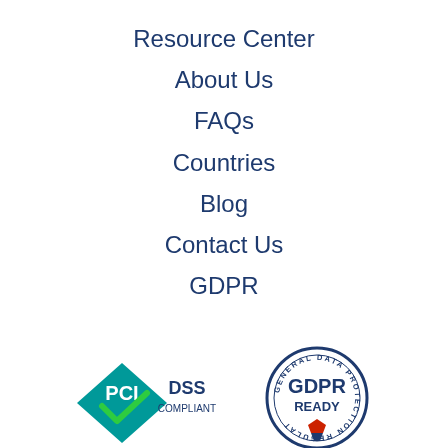Resource Center
About Us
FAQs
Countries
Blog
Contact Us
GDPR
[Figure (logo): PCI DSS Compliant badge with teal/green checkmark logo]
[Figure (logo): GDPR Ready circular badge with General Data Protection Regulation text around border]